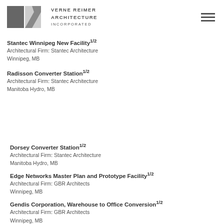Verne Reimer Architecture Incorporated
Stantec Winnipeg New Facility 1/2
Architectural Firm: Stantec Architecture
Winnipeg, MB
Radisson Converter Station 1/2
Architectural Firm: Stantec Architecture
Manitoba Hydro, MB
Dorsey Converter Station 1/2
Architectural Firm: Stantec Architecture
Manitoba Hydro, MB
Edge Networks Master Plan and Prototype Facility 1/2
Architectural Firm: GBR Architects
Winnipeg, MB
Gendis Corporation, Warehouse to Office Conversion 1/2
Architectural Firm: GBR Architects
Winnipeg, MB